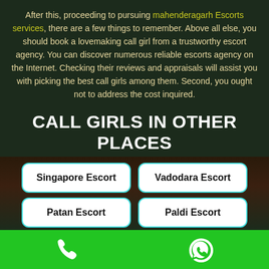After this, proceeding to pursuing mahenderagarh Escorts services, there are a few things to remember. Above all else, you should book a lovemaking call girl from a trustworthy escort agency. You can discover numerous reliable escorts agency on the Internet. Checking their reviews and appraisals will assist you with picking the best call girls among them. Second, you ought not to address the cost inquired.
CALL GIRLS IN OTHER PLACES
Singapore Escort
Vadodara Escort
Patan Escort
Paldi Escort
Phone and WhatsApp contact icons